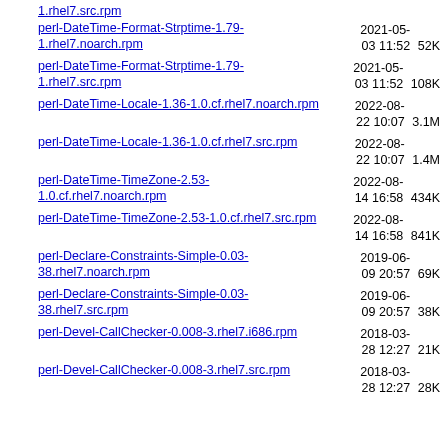1.rhel7.src.rpm
perl-DateTime-Format-Strptime-1.79-1.rhel7.noarch.rpm  2021-05-03 11:52  52K
perl-DateTime-Format-Strptime-1.79-1.rhel7.src.rpm  2021-05-03 11:52  108K
perl-DateTime-Locale-1.36-1.0.cf.rhel7.noarch.rpm  2022-08-22 10:07  3.1M
perl-DateTime-Locale-1.36-1.0.cf.rhel7.src.rpm  2022-08-22 10:07  1.4M
perl-DateTime-TimeZone-2.53-1.0.cf.rhel7.noarch.rpm  2022-08-14 16:58  434K
perl-DateTime-TimeZone-2.53-1.0.cf.rhel7.src.rpm  2022-08-14 16:58  841K
perl-Declare-Constraints-Simple-0.03-38.rhel7.noarch.rpm  2019-06-09 20:57  69K
perl-Declare-Constraints-Simple-0.03-38.rhel7.src.rpm  2019-06-09 20:57  38K
perl-Devel-CallChecker-0.008-3.rhel7.i686.rpm  2018-03-28 12:27  21K
perl-Devel-CallChecker-0.008-3.rhel7.src.rpm  2018-03-28 12:27  28K